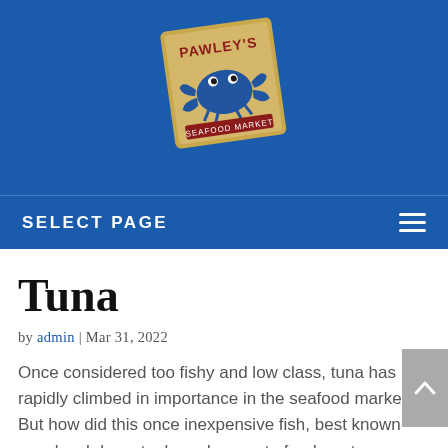[Figure (logo): Pawley's seafood restaurant logo — a crab mascot on a worn label/ticket style graphic with text 'PAWLEY'S']
SELECT PAGE
Tuna
by admin | Mar 31, 2022
Once considered too fishy and low class, tuna has rapidly climbed in importance in the seafood markets.  But how did this once inexpensive fish, best known as a lunch box staple and a way to feed our troops during wartime, become a high-class offering?  We are about to tell you.